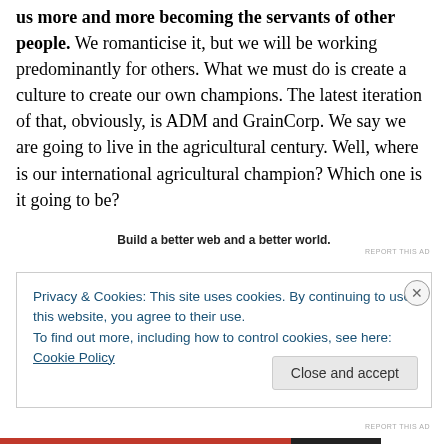us more and more becoming the servants of other people. We romanticise it, but we will be working predominantly for others. What we must do is create a culture to create our own champions. The latest iteration of that, obviously, is ADM and GrainCorp. We say we are going to live in the agricultural century. Well, where is our international agricultural champion? Which one is it going to be?
Build a better web and a better world.
REPORT THIS AD
Privacy & Cookies: This site uses cookies. By continuing to use this website, you agree to their use.
To find out more, including how to control cookies, see here: Cookie Policy
Close and accept
REPORT THIS AD